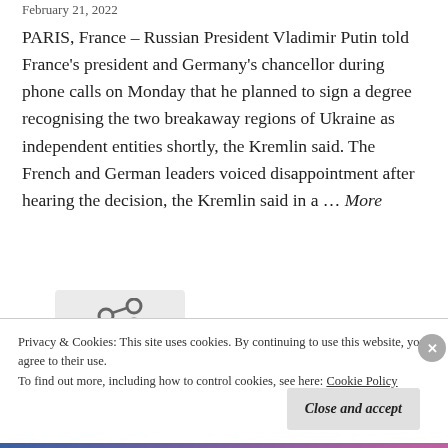February 21, 2022
PARIS, France – Russian President Vladimir Putin told France's president and Germany's chancellor during phone calls on Monday that he planned to sign a degree recognising the two breakaway regions of Ukraine as independent entities shortly, the Kremlin said. The French and German leaders voiced disappointment after hearing the decision, the Kremlin said in a … More
[Figure (other): Share/link icon (chain link symbol) on a light gray background]
Privacy & Cookies: This site uses cookies. By continuing to use this website, you agree to their use.
To find out more, including how to control cookies, see here: Cookie Policy
Close and accept